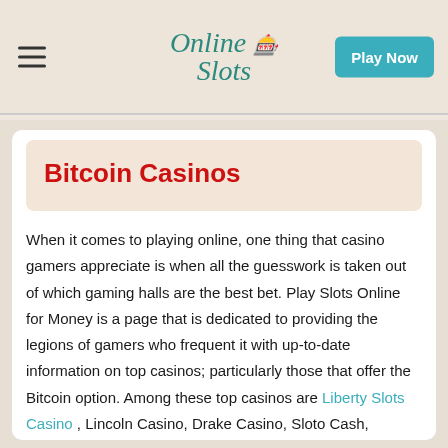Online Slots | Play Now
Bitcoin Casinos
When it comes to playing online, one thing that casino gamers appreciate is when all the guesswork is taken out of which gaming halls are the best bet. Play Slots Online for Money is a page that is dedicated to providing the legions of gamers who frequent it with up-to-date information on top casinos; particularly those that offer the Bitcoin option. Among these top casinos are Liberty Slots Casino , Lincoln Casino, Drake Casino, Sloto Cash, Mandarin Palace, Treasure Mile